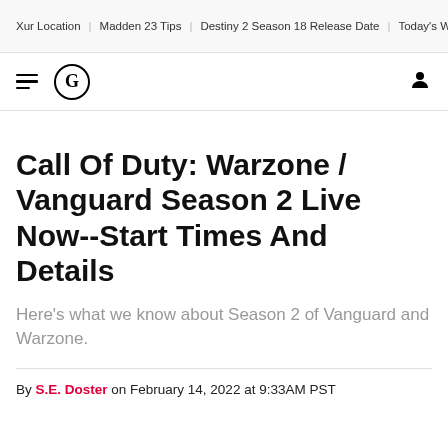Xur Location | Madden 23 Tips | Destiny 2 Season 18 Release Date | Today's Wordle Ansu
[Figure (logo): GameSpot logo: hamburger menu icon and circular G logo on left, user account icon on right]
Call Of Duty: Warzone / Vanguard Season 2 Live Now--Start Times And Details
Here's what we know about Season 2 of Vanguard and Warzone.
By S.E. Doster on February 14, 2022 at 9:33AM PST